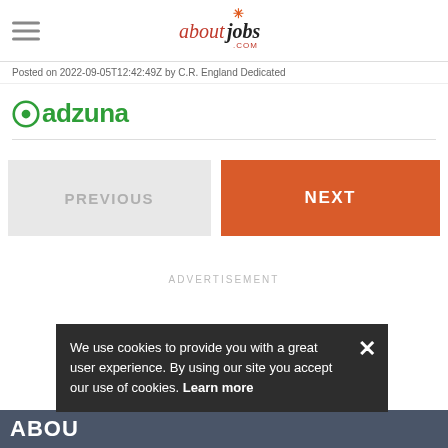aboutjobs.com
Posted on 2022-09-05T12:42:49Z by C.R. England Dedicated
[Figure (logo): Adzuna logo in green]
PREVIOUS
NEXT
ADVERTISEMENT
We use cookies to provide you with a great user experience. By using our site you accept our use of cookies. Learn more
ABOU